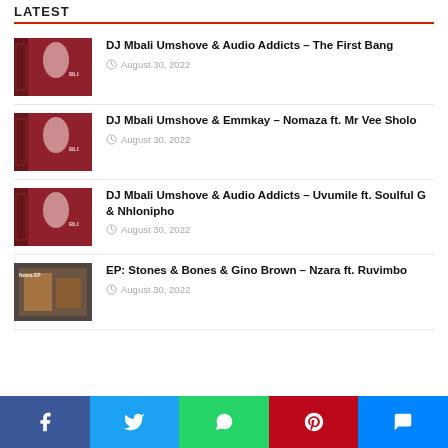LATEST
DJ Mbali Umshove & Audio Addicts – The First Bang — August 30, 2022
DJ Mbali Umshove & Emmkay – Nomaza ft. Mr Vee Sholo — August 30, 2022
DJ Mbali Umshove & Audio Addicts – Uvumile ft. Soulful G & Nhlonipho — August 30, 2022
EP: Stones & Bones & Gino Brown – Nzara ft. Ruvimbo — August 30, 2022